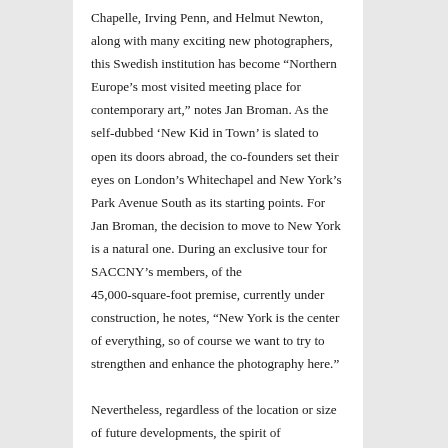Chapelle, Irving Penn, and Helmut Newton, along with many exciting new photographers, this Swedish institution has become “Northern Europe’s most visited meeting place for contemporary art,” notes Jan Broman. As the self-dubbed ‘New Kid in Town’ is slated to open its doors abroad, the co-founders set their eyes on London’s Whitechapel and New York’s Park Avenue South as its starting points. For Jan Broman, the decision to move to New York is a natural one. During an exclusive tour for SACCNY’s members, of the 45,000-square-foot premise, currently under construction, he notes, “New York is the center of everything, so of course we want to try to strengthen and enhance the photography here.”
Nevertheless, regardless of the location or size of future developments, the spirit of Fotografiska remains. “We always try to create places that are inclusive and welcoming. In